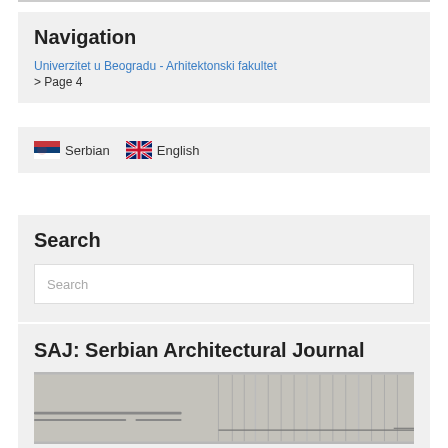Navigation
Univerzitet u Beogradu - Arhitektonski fakultet
> Page 4
[Figure (infographic): Language selector with Serbian and English flags]
Search
Search
SAJ: Serbian Architectural Journal
[Figure (photo): Architectural image, appears to be a facade or structure with vertical lines]